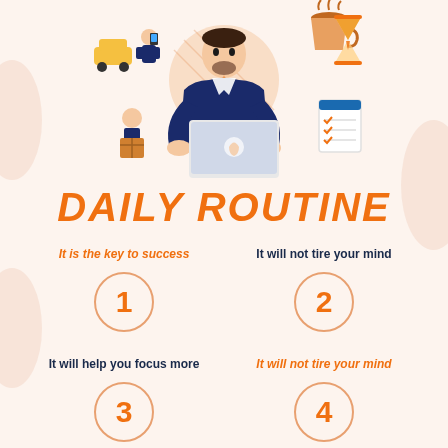[Figure (infographic): Illustration of a businessman working on a laptop with surrounding icons: delivery person with car, coffee cup, hourglass, checklist, clock in background]
DAILY ROUTINE
It is the key to success
It will not tire your mind
1
2
It will help you focus more
It will not tire your mind
3
4